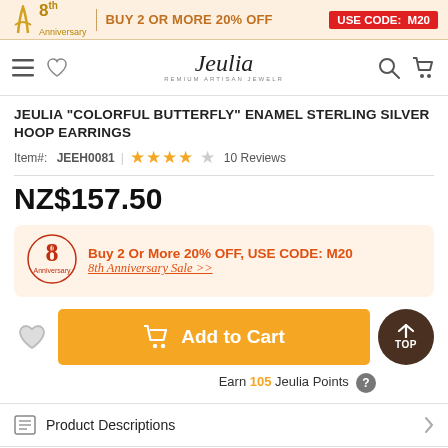8th Anniversary | BUY 2 OR MORE 20% OFF USE CODE: M20
[Figure (logo): Jeulia Premium Artisan Jewelry logo with navigation icons]
JEULIA "COLORFUL BUTTERFLY" ENAMEL STERLING SILVER HOOP EARRINGS
Item#: JEEH0081 | ★★★★☆ 10 Reviews
NZ$157.50
Buy 2 Or More 20% OFF, USE CODE: M20 — 8th Anniversary Sale >>
Add to Cart
Earn 105 Jeulia Points
Product Descriptions